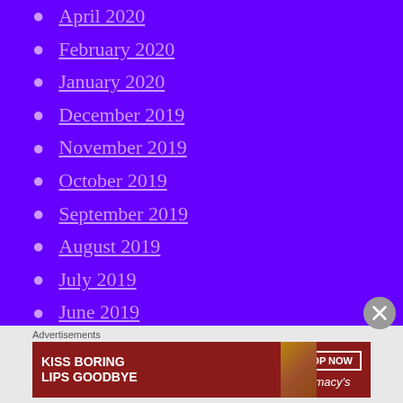April 2020
February 2020
January 2020
December 2019
November 2019
October 2019
September 2019
August 2019
July 2019
June 2019
May 2019
April 2019
March 2019
February 2019
Advertisements
[Figure (other): Advertisement banner for Macy's: KISS BORING LIPS GOODBYE with SHOP NOW button and Macy's logo]